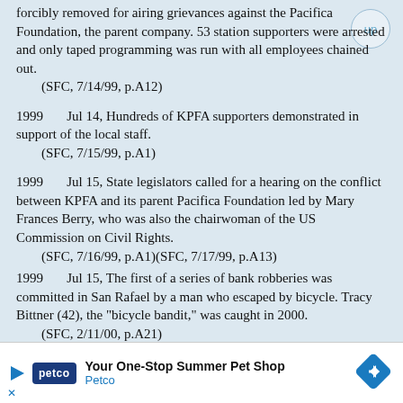forcibly removed for airing grievances against the Pacifica Foundation, the parent company. 53 station supporters were arrested and only taped programming was run with all employees chained out.
    (SFC, 7/14/99, p.A12)
1999    Jul 14, Hundreds of KPFA supporters demonstrated in support of the local staff.
    (SFC, 7/15/99, p.A1)
1999    Jul 15, State legislators called for a hearing on the conflict between KPFA and its parent Pacifica Foundation led by Mary Frances Berry, who was also the chairwoman of the US Commission on Civil Rights.
    (SFC, 7/16/99, p.A1)(SFC, 7/17/99, p.A13)
1999    Jul 15, The first of a series of bank robberies was committed in San Rafael by a man who escaped by bicycle. Tracy Bittner (42), the "bicycle bandit," was caught in 2000.
    (SFC, 2/11/00, p.A21)
1999    Jul 15, Gina Berriault, Sausalito writer
[Figure (other): Advertisement banner for Petco: 'Your One-Stop Summer Pet Shop' with Petco logo and navigation arrow icon]